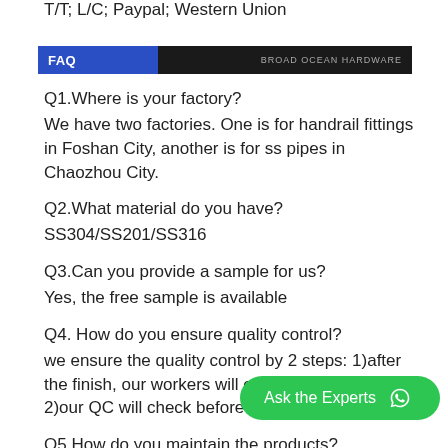T/T; L/C; Paypal; Western Union
FAQ   BROAD OCEAN HARDWARE
Q1.Where is your factory?
We have two factories. One is for handrail fittings in Foshan City, another is for ss pipes in Chaozhou City.
Q2.What material do you have?
SS304/SS201/SS316
Q3.Can you provide a sample for us?
Yes, the free sample is available
Q4. How do you ensure quality control?
we ensure the quality control by 2 steps: 1)after the finish, our workers will check it one by one. 2)our QC will check before they pack.
Q5.How do you maintain the products?